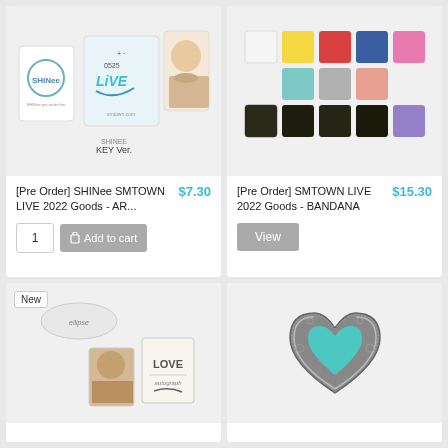[Figure (photo): SHINee SMTOWN LIVE 2022 Goods AR card product image - KEY Ver. showing logo card, live 2022 card, and portrait photo card]
[Pre Order] SHINee SMTOWN LIVE 2022 Goods - AR...
$7.30
[Figure (photo): SMTOWN LIVE 2022 Goods BANDANA product image - grid of 12 colored bandana variants including white, yellow, red, blue, pink, teal, gray, salmon, dark olive, and purple]
[Pre Order] SMTOWN LIVE 2022 Goods - BANDANA
$15.30
[Figure (photo): New product - bottom left card showing items including oval sticker, portrait photo card, and LOVE album]
[Figure (photo): Bottom right product - ornate silver heart-shaped box with teal/turquoise heart center and wing decorations]